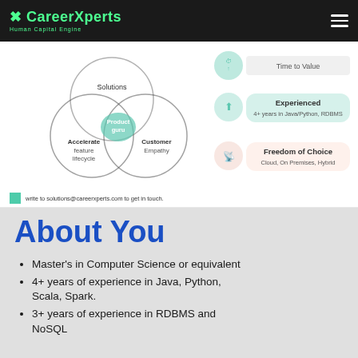CareerXperts — Human Capital Engine
[Figure (infographic): Venn diagram with three overlapping circles: Solutions (top), Accelerate feature lifecycle (left), Customer Empathy (right), with 'Product guru' at the center intersection. Right side shows three badges: Time to Value, Experienced (4+ years in Java/Python, RDBMS), Freedom of Choice (Cloud, On Premises, Hybrid).]
write to solutions@careerxperts.com to get in touch.
About You
Master's in Computer Science or equivalent
4+ years of experience in Java, Python, Scala, Spark.
3+ years of experience in RDBMS and NoSQL